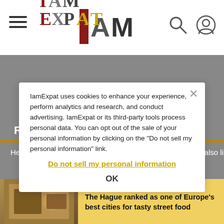IamExpat
RELATED STORIES
Here is a selection of articles, news and features you may also like.
IamExpat uses cookies to enhance your experience, perform analytics and research, and conduct advertising. IamExpat or its third-party tools process personal data. You can opt out of the sale of your personal information by clicking on the 'Do not sell my personal information' link.
Do not sell my personal information
OK
The Hague ranked as one of Europe's best cities for tasty street food